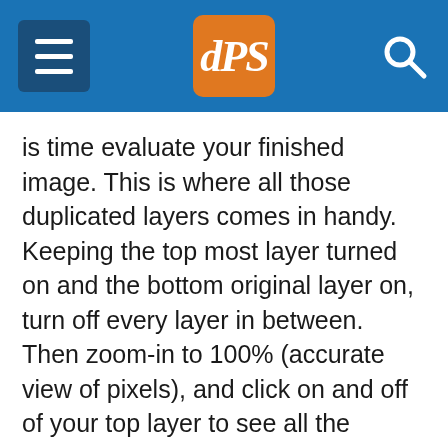dPS navigation header with hamburger menu, dPS logo, and search icon
is time evaluate your finished image. This is where all those duplicated layers comes in handy. Keeping the top most layer turned on and the bottom original layer on, turn off every layer in between. Then zoom-in to 100% (accurate view of pixels), and click on and off of your top layer to see all the changes you have made.
If necessary make any other slight adjustments, like cropping to the correct size, then save your image. It's best to always save the Photoshop